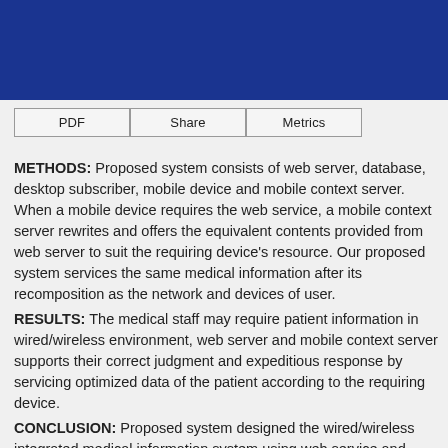| PDF | Share | Metrics |
| --- | --- | --- |
METHODS: Proposed system consists of web server, database, desktop subscriber, mobile device and mobile context server. When a mobile device requires the web service, a mobile context server rewrites and offers the equivalent contents provided from web server to suit the requiring device's resource. Our proposed system services the same medical information after its recomposition as the network and devices of user.
RESULTS: The medical staff may require patient information in wired/wireless environment, web server and mobile context server supports their correct judgment and expeditious response by servicing optimized data of the patient according to the requiring device.
CONCLUSION: Proposed system designed the wired/wireless integrated medical information system using web service and mobile web service as the bases of ubiquitous healthcare system. Not only for web service in wired network, to provide the optimal web service in wireless network, we should know the limited